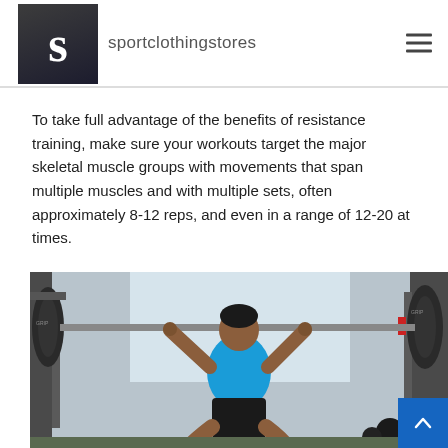sportclothingstores
To take full advantage of the benefits of resistance training, make sure your workouts target the major skeletal muscle groups with movements that span multiple muscles and with multiple sets, often approximately 8-12 reps, and even in a range of 12-20 at times.
[Figure (photo): A man in a blue sleeveless shirt performing a barbell squat at a gym with weight plates and a power rack visible in the background.]